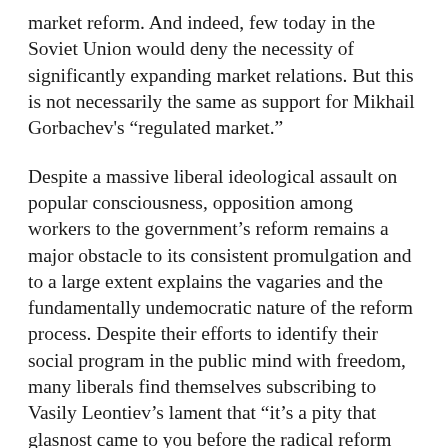market reform. And indeed, few today in the Soviet Union would deny the necessity of significantly expanding market relations. But this is not necessarily the same as support for Mikhail Gorbachev's “regulated market.”
Despite a massive liberal ideological assault on popular consciousness, opposition among workers to the government’s reform remains a major obstacle to its consistent promulgation and to a large extent explains the vagaries and the fundamentally undemocratic nature of the reform process. Despite their efforts to identify their social program in the public mind with freedom, many liberals find themselves subscribing to Vasily Leontiev’s lament that “it’s a pity that glasnost came to you before the radical reform connected with the transition to the market.”(1)
A few days after Gorbachev became president of the